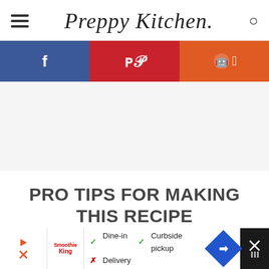Preppy Kitchen
[Figure (infographic): Social sharing bar with three buttons: Facebook (blue), Pinterest (red), Reddit (orange)]
[Figure (other): Advertisement placeholder area (light gray background)]
PRO TIPS FOR MAKING THIS RECIPE
Make sure to use a candy thermometer for
[Figure (infographic): Bottom advertisement banner: Smoothie King logo, dine-in/curbside pickup/delivery info, navigation sign icon, close button]